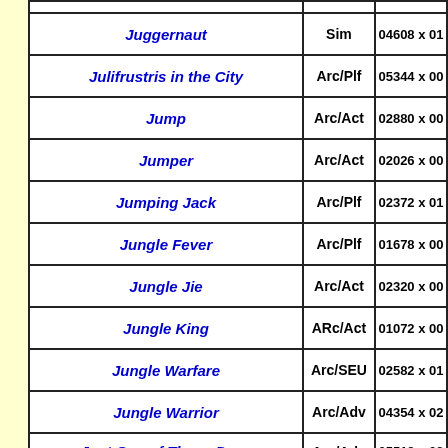| Name | Genre | Code |
| --- | --- | --- |
| Juggernaut | Sim | 04608 x 01... |
| Julifrustris in the City | Arc/Plf | 05344 x 00... |
| Jump | Arc/Act | 02880 x 00... |
| Jumper | Arc/Act | 02026 x 00... |
| Jumping Jack | Arc/Plf | 02372 x 01... |
| Jungle Fever | Arc/Plf | 01678 x 00... |
| Jungle Jie | Arc/Act | 02320 x 00... |
| Jungle King | ARc/Act | 01072 x 00... |
| Jungle Warfare | Arc/SEU | 02582 x 01... |
| Jungle Warrior | Arc/Adv | 04354 x 02... |
| Just One of Those Days | Arc/Adv | 05518 x 02... |